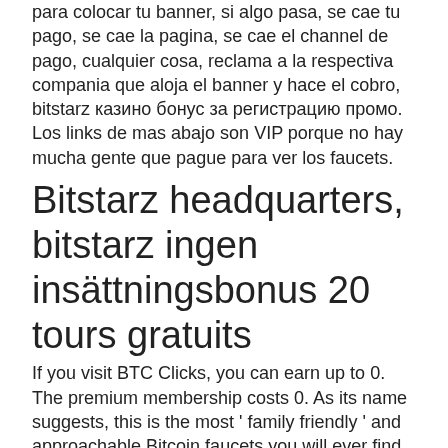para colocar tu banner, si algo pasa, se cae tu pago, se cae la pagina, se cae el channel de pago, cualquier cosa, reclama a la respectiva compania que aloja el banner y hace el cobro, bitstarz казино бонус за регистрацию промо. Los links de mas abajo son VIP porque no hay mucha gente que pague para ver los faucets.
Bitstarz headquarters, bitstarz ingen insättningsbonus 20 tours gratuits
If you visit BTC Clicks, you can earn up to 0. The premium membership costs 0. As its name suggests, this is the most ' family friendly ' and approachable Bitcoin faucets you will ever find in the market, bitstarz казино официальный сайт бонус код. This faucet website gives its members the right to